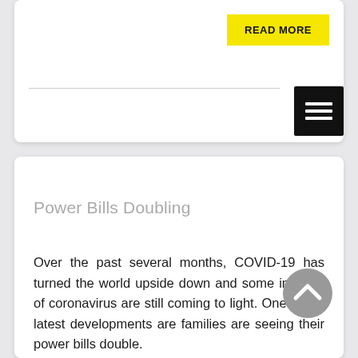READ MORE
[Figure (other): Hamburger menu icon (three horizontal white lines on black background)]
Power Bills Doubling
Over the past several months, COVID-19 has turned the world upside down and some impacts of coronavirus are still coming to light. One of the latest developments are families are seeing their power bills double.
With unprecedented numbers of